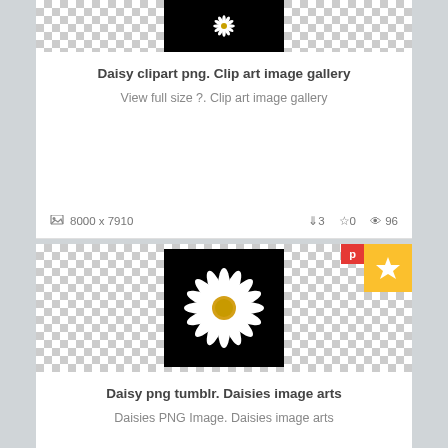[Figure (photo): Daisy clipart on black background, small thumbnail at top of first card]
Daisy clipart png. Clip art image gallery
View full size ?. Clip art image gallery
8000 x 7910  ↓3  ☆0  👁 96
[Figure (photo): Daisy png on black background with transparent checkerboard surround, for Daisy png tumblr Daisies image arts]
Daisy png tumblr. Daisies image arts
Daisies PNG Image. Daisies image arts